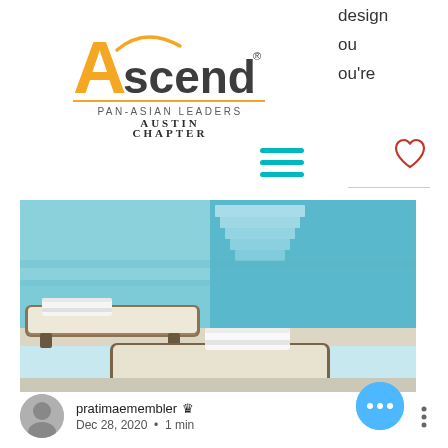design
ou
ou're
[Figure (logo): Ascend Pan-Asian Leaders Austin Chapter logo with orange 'A' and 'scend' wordmark]
[Figure (photo): Luxury poolside scene with wicker lounge chairs and white towels next to a turquoise swimming pool with steps]
pratimaemembler
Dec 28, 2020 • 1 min